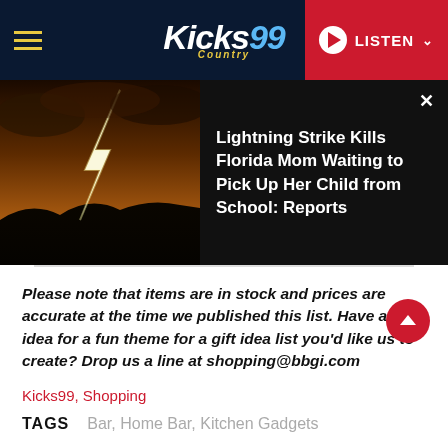Kicks99 Country - LISTEN
[Figure (screenshot): Lightning strike photo with dark stormy sky and silhouetted hills, headline: Lightning Strike Kills Florida Mom Waiting to Pick Up Her Child from School: Reports]
Please note that items are in stock and prices are accurate at the time we published this list. Have an idea for a fun theme for a gift idea list you'd like us to create?  Drop us a line at shopping@bbgi.com
Kicks99,  Shopping
TAGS   Bar, Home Bar, Kitchen Gadgets